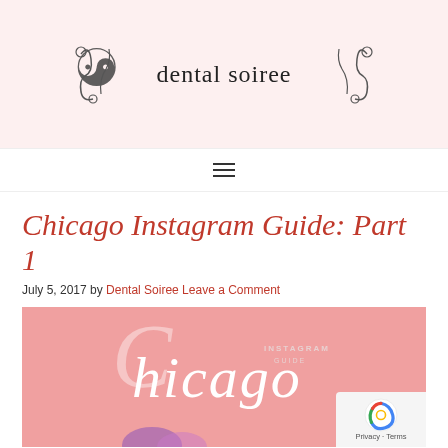dental soiree
[Figure (logo): Dental Soiree logo with decorative swirl ornaments on left and right sides and the text 'dental soiree' in the center]
Chicago Instagram Guide: Part 1
July 5, 2017 by Dental Soiree Leave a Comment
[Figure (illustration): Pink background promotional image with cursive 'Chicago' text, decorative swirl, and 'INSTAGRAM GUIDE' text in small caps]